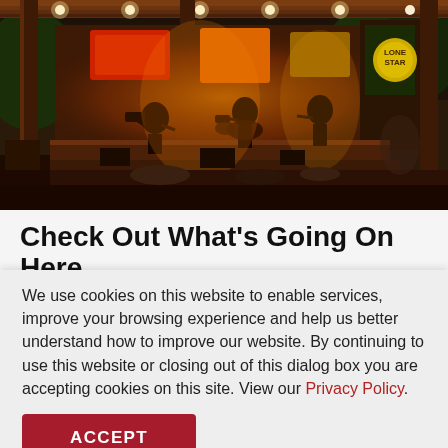[Figure (photo): Outdoor concert venue at dusk with a band performing on a rustic wooden stage under string lights and spotlights, surrounded by eclectic signage and structures.]
Check Out What's Going On Here
We use cookies on this website to enable services, improve your browsing experience and help us better understand how to improve our website. By continuing to use this website or closing out of this dialog box you are accepting cookies on this site. View our Privacy Policy.
ACCEPT